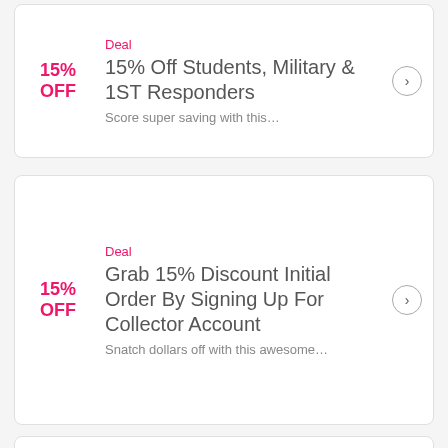Deal
15% Off Students, Military & 1ST Responders
Score super saving with this…
15% OFF
Deal
Grab 15% Discount Initial Order By Signing Up For Collector Account
Snatch dollars off with this awesome…
15% OFF
Promo Code